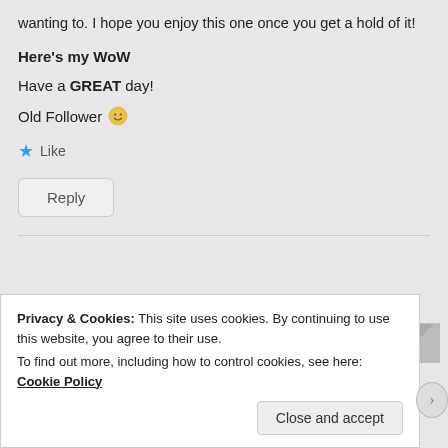wanting to. I hope you enjoy this one once you get a hold of it!
Here's my WoW
Have a GREAT day!
Old Follower 🙂
★ Like
Reply
Privacy & Cookies: This site uses cookies. By continuing to use this website, you agree to their use. To find out more, including how to control cookies, see here: Cookie Policy
Close and accept